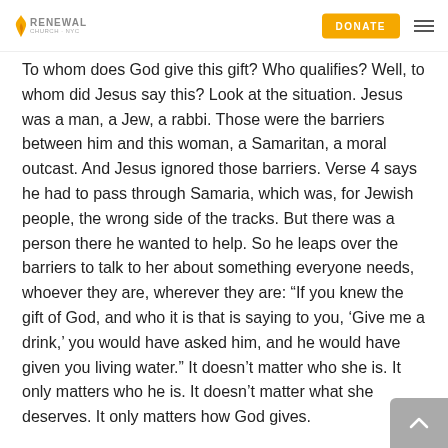RENEWAL | DONATE
To whom does God give this gift? Who qualifies? Well, to whom did Jesus say this? Look at the situation. Jesus was a man, a Jew, a rabbi. Those were the barriers between him and this woman, a Samaritan, a moral outcast. And Jesus ignored those barriers. Verse 4 says he had to pass through Samaria, which was, for Jewish people, the wrong side of the tracks. But there was a person there he wanted to help. So he leaps over the barriers to talk to her about something everyone needs, whoever they are, wherever they are: “If you knew the gift of God, and who it is that is saying to you, ‘Give me a drink,’ you would have asked him, and he would have given you living water.” It doesn’t matter who she is. It only matters who he is. It doesn’t matter what she deserves. It only matters how God gives.
She came to draw water at noon, at the hottest time of day. Even Jesus was tired. But she came then, because the other